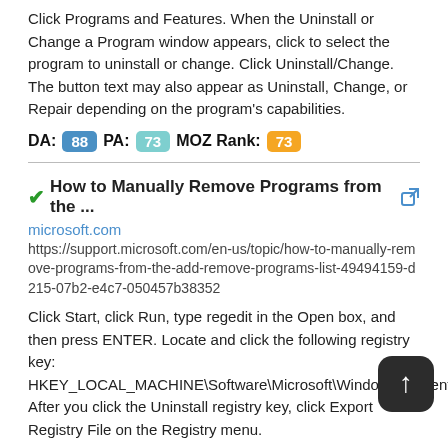Click Programs and Features. When the Uninstall or Change a Program window appears, click to select the program to uninstall or change. Click Uninstall/Change. The button text may also appear as Uninstall, Change, or Repair depending on the program's capabilities.
DA: 88  PA: 73  MOZ Rank: 73
How to Manually Remove Programs from the ...
microsoft.com
https://support.microsoft.com/en-us/topic/how-to-manually-remove-programs-from-the-add-remove-programs-list-49494159-d215-07b2-e4c7-050457b38352
Click Start, click Run, type regedit in the Open box, and then press ENTER. Locate and click the following registry key: HKEY_LOCAL_MACHINE\Software\Microsoft\Windows\CurrentVersion\Uninstall After you click the Uninstall registry key, click Export Registry File on the Registry menu.
DA: 51  PA: 19  MOZ Rank: 1
How to Manually Remove Programs from the Windows